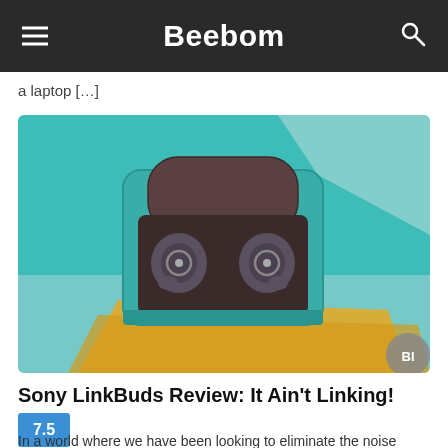Beebom
a laptop […]
[Figure (photo): Sony LinkBuds earbuds in their open teal/green carrying case, placed on a yellow surface. The earbuds are dark grey with circular ring design. Overhead/top-down view.]
Sony LinkBuds Review: It Ain't Linking!
7.5
In a world where we have been looking to eliminate the noise